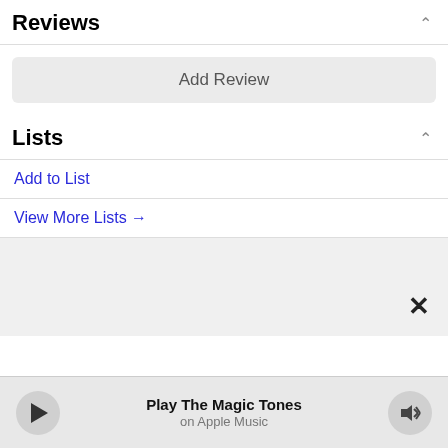Reviews
Add Review
Lists
Add to List
View More Lists →
[Figure (screenshot): Gray box with a close (×) button in the lower right corner]
Play The Magic Tones on Apple Music